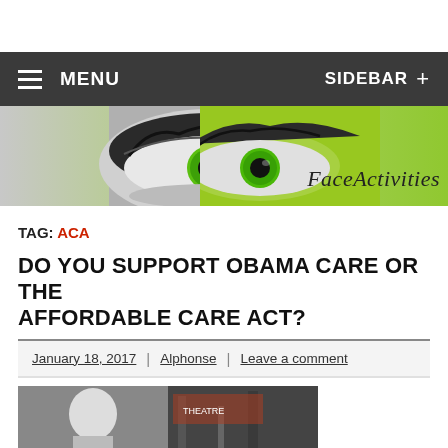MENU | SIDEBAR +
[Figure (illustration): FaceActivities website banner with two eyes on a gradient background (black-and-white to green), text 'FaceActivities' in italic serif font on green background]
TAG: ACA
DO YOU SUPPORT OBAMA CARE OR THE AFFORDABLE CARE ACT?
January 18, 2017 | Alphonse | Leave a comment
[Figure (photo): Photo of a blonde woman in a street setting, city scene]